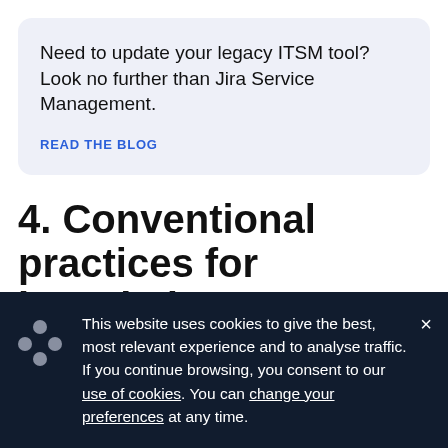Need to update your legacy ITSM tool? Look no further than Jira Service Management.
READ THE BLOG
4. Conventional practices for knowledge management
This website uses cookies to give the best, most relevant experience and to analyse traffic. If you continue browsing, you consent to our use of cookies. You can change your preferences at any time.